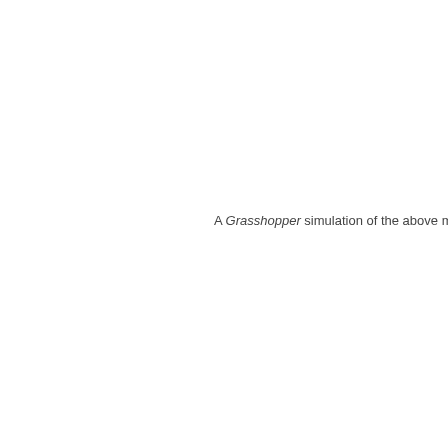A Grasshopper simulation of the above mod